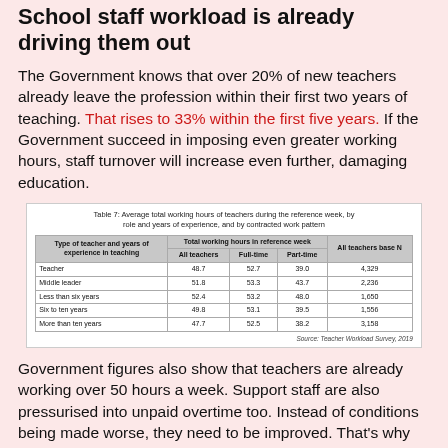School staff workload is already driving them out
The Government knows that over 20% of new teachers already leave the profession within their first two years of teaching. That rises to 33% within the first five years. If the Government succeed in imposing even greater working hours, staff turnover will increase even further, damaging education.
Table 7: Average total working hours of teachers during the reference week, by role and years of experience, and by contracted work pattern
| Type of teacher and years of experience in teaching | All teachers | Full-time | Part-time | All teachers base N |
| --- | --- | --- | --- | --- |
| Teacher | 48.7 | 52.7 | 39.0 | 4,329 |
| Middle leader | 51.8 | 53.3 | 43.7 | 2,236 |
| Less than six years | 52.4 | 53.2 | 48.0 | 1,650 |
| Six to ten years | 49.8 | 53.1 | 39.5 | 1,556 |
| More than ten years | 47.7 | 52.5 | 38.2 | 3,158 |
Source: Teacher Workload Survey, 2019
Government figures also show that teachers are already working over 50 hours a week. Support staff are also pressurised into unpaid overtime too. Instead of conditions being made worse, they need to be improved. That's why one of the ten key points in